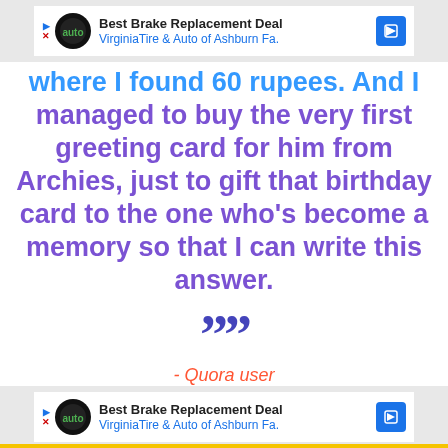[Figure (screenshot): Advertisement banner for Best Brake Replacement Deal - Virginia Tire & Auto of Ashburn Fa.]
where I found 60 rupees. And I managed to buy the very first greeting card for him from Archies, just to gift that birthday card to the one who's become a memory so that I can write this answer.
””
- Quora user
[Figure (screenshot): Advertisement banner for Best Brake Replacement Deal - Virginia Tire & Auto of Ashburn Fa.]